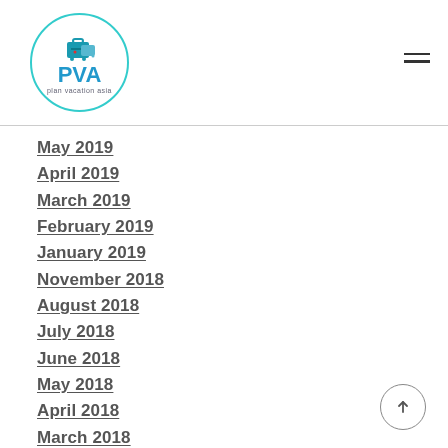[Figure (logo): Plan Vacation Asia (PVA) logo — teal circle with luggage icon and blue PVA text and 'plan vacation asia' subtitle]
May 2019
April 2019
March 2019
February 2019
January 2019
November 2018
August 2018
July 2018
June 2018
May 2018
April 2018
March 2018
January 2018
November 2017
October 2017
September 2017